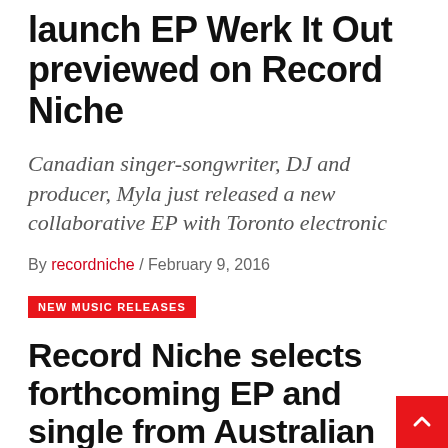launch EP Werk It Out previewed on Record Niche
Canadian singer-songwriter, DJ and producer, Myla just released a new collaborative EP with Toronto electronic
By recordniche / February 9, 2016
NEW MUSIC RELEASES
Record Niche selects forthcoming EP and single from Australian rock EDM duo SkullClub
SkullClub, a recently formed duo who fus